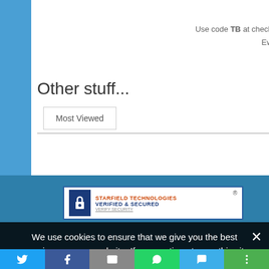Use code TB at checkout and get 15% off your order at EwinRacing.com
Other stuff...
Most Viewed
[Figure (logo): Starfield Technologies Verified & Secured badge with lock icon and registered trademark symbol]
We use cookies to ensure that we give you the best experience on our website. If you continue to use this site we will assume that you are happy with it.
[Figure (infographic): Social sharing bar with Twitter, Facebook, Email, WhatsApp, SMS, and More share buttons]